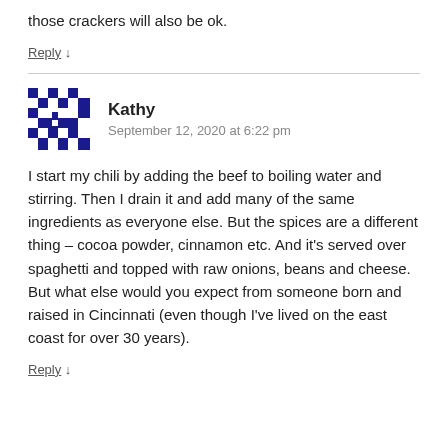those crackers will also be ok.
Reply ↓
[Figure (illustration): Blue and white checkered/pixel avatar image for user Kathy]
Kathy
September 12, 2020 at 6:22 pm
I start my chili by adding the beef to boiling water and stirring. Then I drain it and add many of the same ingredients as everyone else. But the spices are a different thing – cocoa powder, cinnamon etc. And it's served over spaghetti and topped with raw onions, beans and cheese. But what else would you expect from someone born and raised in Cincinnati (even though I've lived on the east coast for over 30 years).
Reply ↓